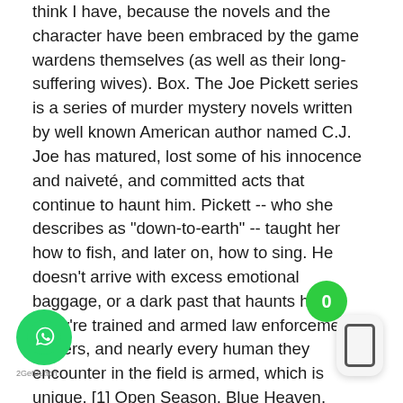think I have, because the novels and the character have been embraced by the game wardens themselves (as well as their long-suffering wives). Box. The Joe Pickett series is a series of murder mystery novels written by well known American author named C.J. Joe has matured, lost some of his innocence and naiveté, and committed acts that continue to haunt him. Pickett -- who she describes as "down-to-earth" -- taught her how to fish, and later on, how to sing. He doesn't arrive with excess emotional baggage, or a dark past that haunts him. They're trained and armed law enforcement officers, and nearly every human they encounter in the field is armed, which is unique. [1] Open Season, Blue Heaven, Nowhere To Run, and The Highway have been optioned for film and television. The first novel in his Joe Pickett series, Open Season, was included in The New York Times list of "Notable Books" of 2001. Open Season:There's nothing unusual about the soun..., Open Season Game ward... Joe Pickett hears two shar..., Free Fire Joe Pickett's been hired... investigate o... Joe Pickett is the new game warden in Twelve